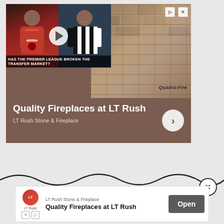[Figure (screenshot): Advertisement screenshot showing two overlapping ads: 1) A video thumbnail with soccer players (Premier League transfer market topic) overlaid on a fireplace room image from Quadra-Fire. Ad headline: 'Quality Fireplaces at LT Rush', subtext: 'LT Rush Stone & Fireplace', with a forward arrow button. 2) A bottom banner ad for 'LT Rush Stone & Fireplace' with Open button. Also shows a wavy decorative line and close (X) button.]